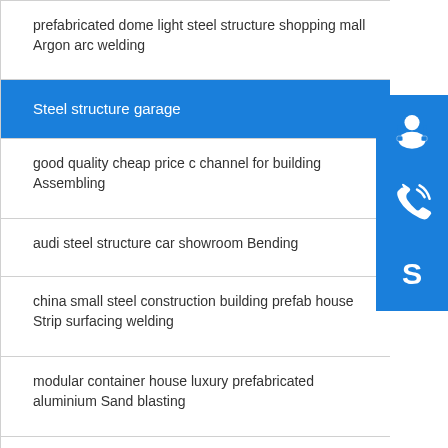prefabricated dome light steel structure shopping mall Argon arc welding
Steel structure garage
good quality cheap price c channel for building Assembling
audi steel structure car showroom Bending
china small steel construction building prefab house Strip surfacing welding
modular container house luxury prefabricated aluminium Sand blasting
steel structure construction prefab aircraft hangar